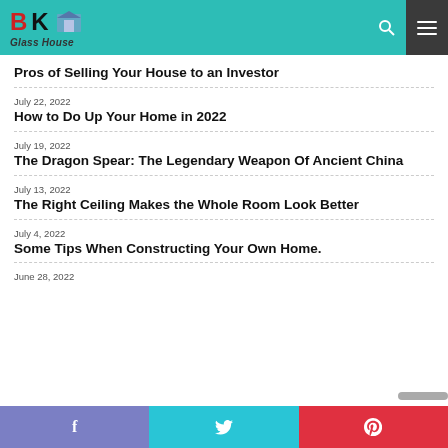BK Glass House
Pros of Selling Your House to an Investor
July 22, 2022
How to Do Up Your Home in 2022
July 19, 2022
The Dragon Spear: The Legendary Weapon Of Ancient China
July 13, 2022
The Right Ceiling Makes the Whole Room Look Better
July 4, 2022
Some Tips When Constructing Your Own Home.
June 28, 2022
Facebook  Twitter  Pinterest